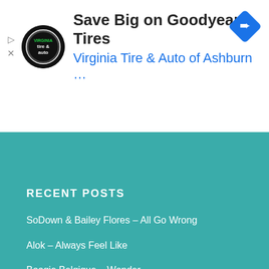[Figure (screenshot): Advertisement banner for Virginia Tire & Auto of Ashburn with logo, title 'Save Big on Goodyear Tires', subtitle 'Virginia Tire & Auto of Ashburn ...', and a blue navigation diamond icon on the right.]
RECENT POSTS
SoDown & Bailey Flores – All Go Wrong
Alok – Always Feel Like
Boogie Belgique – Wonder
[By The Wavs Exclusive] "Catch A New Wav" – Interview With Marie Montexier
Kode PinK Ft. Dani King – Bad Decisions